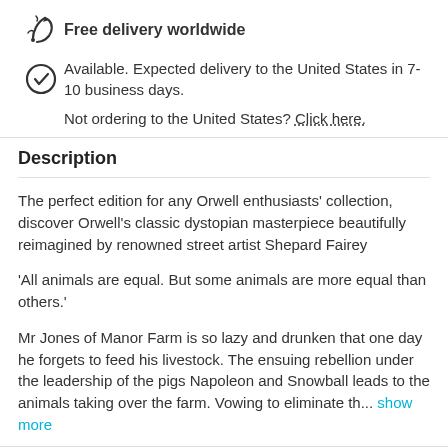Free delivery worldwide
Available. Expected delivery to the United States in 7-10 business days.
Not ordering to the United States? Click here.
Description
The perfect edition for any Orwell enthusiasts' collection, discover Orwell's classic dystopian masterpiece beautifully reimagined by renowned street artist Shepard Fairey
'All animals are equal. But some animals are more equal than others.'
Mr Jones of Manor Farm is so lazy and drunken that one day he forgets to feed his livestock. The ensuing rebellion under the leadership of the pigs Napoleon and Snowball leads to the animals taking over the farm. Vowing to eliminate th... show more
Product details